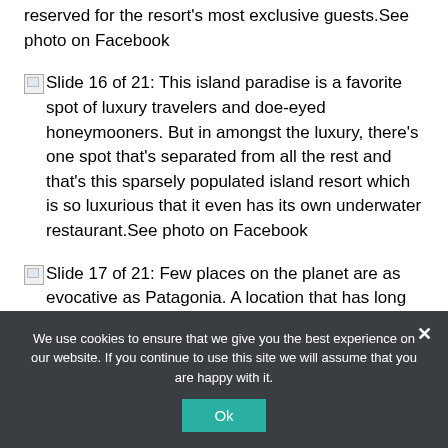reserved for the resort's most exclusive guests.See photo on Facebook
Slide 16 of 21: This island paradise is a favorite spot of luxury travelers and doe-eyed honeymooners. But in amongst the luxury, there's one spot that's separated from all the rest and that's this sparsely populated island resort which is so luxurious that it even has its own underwater restaurant.See photo on Facebook
Slide 17 of 21: Few places on the planet are as evocative as Patagonia. A location that has long
We use cookies to ensure that we give you the best experience on our website. If you continue to use this site we will assume that you are happy with it.